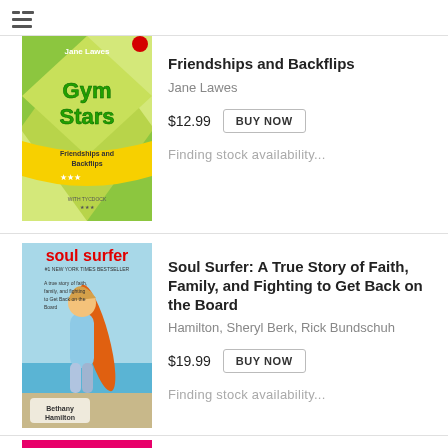[Figure (screenshot): Menu/list icon at top left]
[Figure (photo): Book cover: Gym Stars - Friendships and Backflips by Jane Lawes, green/yellow cover with gymnastics figures]
Friendships and Backflips
Jane Lawes
$12.99  BUY NOW
Finding stock availability...
[Figure (photo): Book cover: Soul Surfer by Bethany Hamilton, Sheryl Berk, Rick Bundschuh - shows a young woman with surfboard]
Soul Surfer: A True Story of Faith, Family, and Fighting to Get Back on the Board
Hamilton, Sheryl Berk, Rick Bundschuh
$19.99  BUY NOW
Finding stock availability...
[Figure (photo): Partial view of a third book cover with pink/magenta strip visible at bottom]